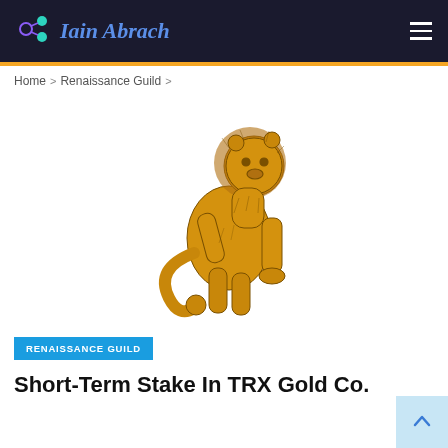Iain Abrach
Home > Renaissance Guild >
[Figure (illustration): Golden heraldic lion rampant illustration on white background]
RENAISSANCE GUILD
Short-Term Stake In TRX Gold Co. (NYSEAMERICAN:TRX) Rose To 1.0...